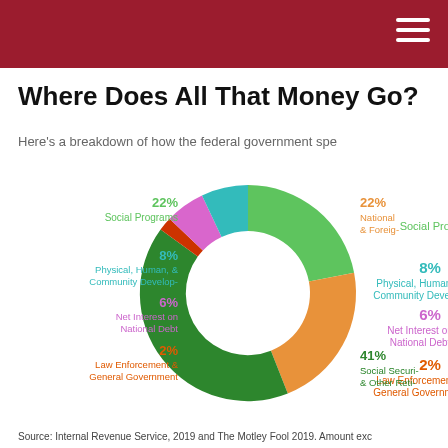Where Does All That Money Go?
Here's a breakdown of how the federal government spe...
[Figure (donut-chart): Where Does All That Money Go?]
Source: Internal Revenue Service, 2019 and The Motley Fool 2019. Amount exc...